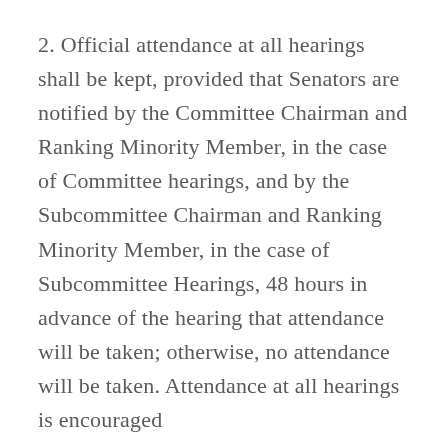2. Official attendance at all hearings shall be kept, provided that Senators are notified by the Committee Chairman and Ranking Minority Member, in the case of Committee hearings, and by the Subcommittee Chairman and Ranking Minority Member, in the case of Subcommittee Hearings, 48 hours in advance of the hearing that attendance will be taken; otherwise, no attendance will be taken. Attendance at all hearings is encouraged